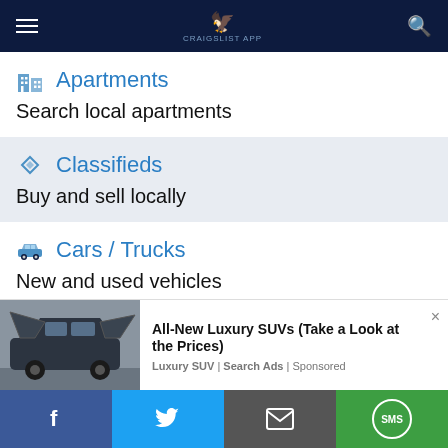Craigslist App navigation bar
Apartments — Search local apartments
Classifieds — Buy and sell locally
Cars / Trucks — New and used vehicles
[Figure (screenshot): Ad banner showing a luxury SUV with gull-wing doors open. Ad title: All-New Luxury SUVs (Take a Look at the Prices). Advertiser: Luxury SUV | Search Ads | Sponsored]
[Figure (infographic): Social share bar at bottom with four buttons: Facebook (blue), Twitter (light blue), Email (grey), SMS (green)]